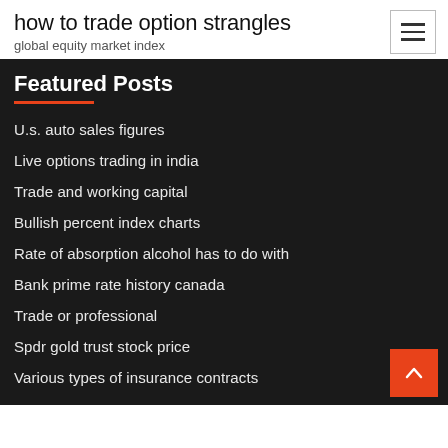how to trade option strangles
global equity market index
Featured Posts
U.s. auto sales figures
Live options trading in india
Trade and working capital
Bullish percent index charts
Rate of absorption alcohol has to do with
Bank prime rate history canada
Trade or professional
Spdr gold trust stock price
Various types of insurance contracts